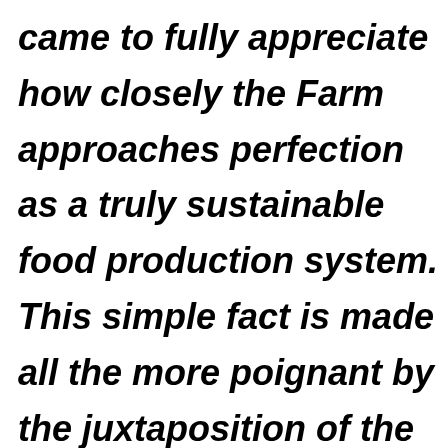came to fully appreciate how closely the Farm approaches perfection as a truly sustainable food production system. This simple fact is made all the more poignant by the juxtaposition of the imminent loss of the Farm and the particularly critical juncture in human history at which we now find